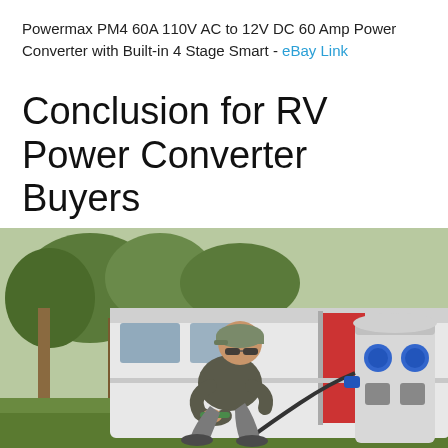Powermax PM4 60A 110V AC to 12V DC 60 Amp Power Converter with Built-in 4 Stage Smart - eBay Link
Conclusion for RV Power Converter Buyers
[Figure (photo): A man wearing a grey t-shirt, olive cap, and grey pants crouching on grass next to a white electrical power pedestal with blue sockets and connectors, with a white RV van and trees in the background.]